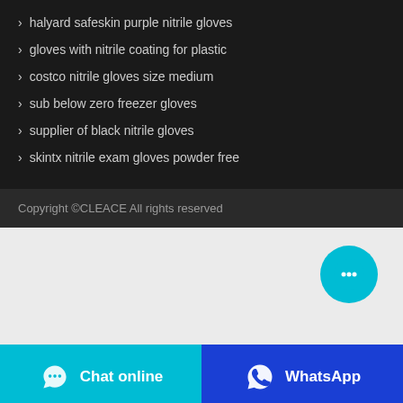halyard safeskin purple nitrile gloves
gloves with nitrile coating for plastic
costco nitrile gloves size medium
sub below zero freezer gloves
supplier of black nitrile gloves
skintx nitrile exam gloves powder free
Copyright ©CLEACE All rights reserved